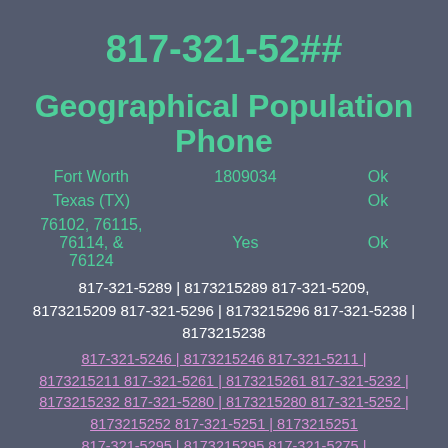817-321-52##
Geographical Population Phone
|  | Population | Phone |
| --- | --- | --- |
| Fort Worth | 1809034 | Ok |
| Texas (TX) |  | Ok |
| 76102, 76115, 76114, & 76124 | Yes | Ok |
817-321-5289 | 8173215289 817-321-5209, 8173215209 817-321-5296 | 8173215296 817-321-5238 | 8173215238
817-321-5246 | 8173215246 817-321-5211 | 8173215211 817-321-5261 | 8173215261 817-321-5232 | 8173215232 817-321-5280 | 8173215280 817-321-5252 | 8173215252 817-321-5251 | 8173215251 817-321-5295 | 8173215295 817-321-5275 | 8173215275 817-321-5208, 8173215208 817-321-5253 | 8173215253 817-321-5212 | 8173215212 817-321-5247 | 8173215247 817-321-5244 | 8173215244